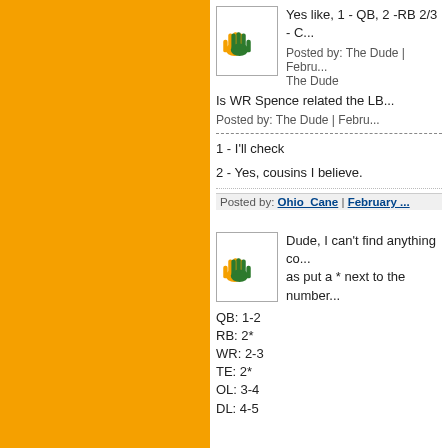[Figure (illustration): Orange and green hands logo/avatar in a bordered box]
Yes like, 1 - QB, 2 -RB 2/3 - C...
Posted by: The Dude | Febru... The Dude
Is WR Spence related the LB...
Posted by: The Dude | Febru...
1 - I'll check
2 - Yes, cousins I believe.
Posted by: Ohio_Cane | February ...
[Figure (illustration): Orange and green hands logo/avatar in a bordered box]
Dude, I can't find anything co... as put a * next to the number...
QB: 1-2
RB: 2*
WR: 2-3
TE: 2*
OL: 3-4
DL: 4-5